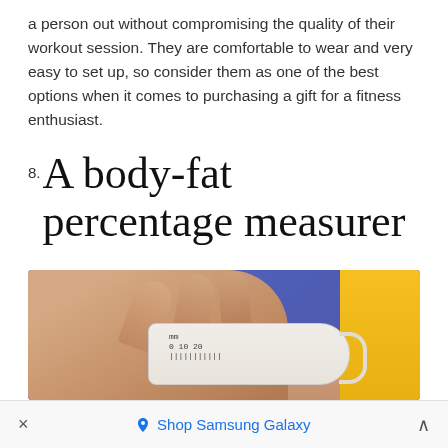a person out without compromising the quality of their workout session. They are comfortable to wear and very easy to set up, so consider them as one of the best options when it comes to purchasing a gift for a fitness enthusiast.
8. A body-fat percentage measurer
[Figure (photo): A hand using a body-fat caliper/skinfold measurer on a person's arm/body. The background is blue/purple, and the person is wearing a yellow shirt on the right side.]
× Shop Samsung Galaxy ^